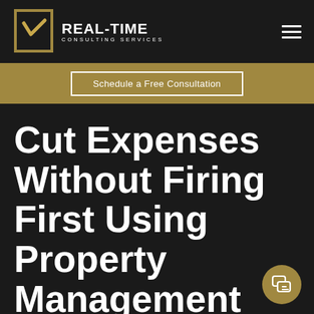[Figure (logo): Real-Time Consulting Services logo with gold square bracket graphic and white text]
Schedule a Free Consultation
Cut Expenses Without Firing First Using Property Management